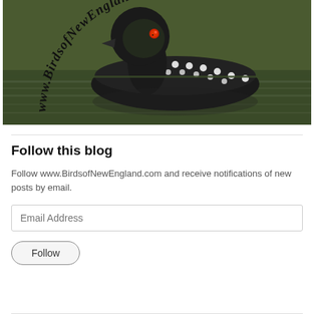[Figure (photo): A Common Loon bird swimming on water with text 'www.BirdsofNewEngland.com' in an arc across the top of the image]
Follow this blog
Follow www.BirdsofNewEngland.com and receive notifications of new posts by email.